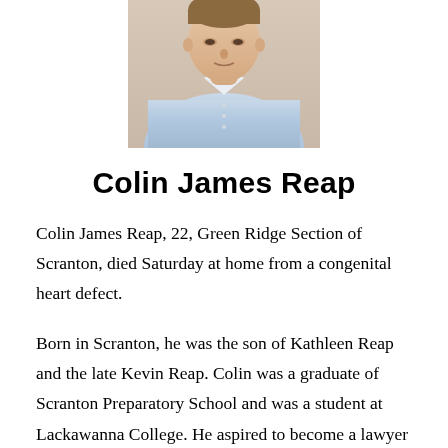[Figure (photo): Portrait photo of a young man wearing a light blue button-down shirt, cropped to show upper torso and partial face]
Colin James Reap
Colin James Reap, 22, Green Ridge Section of Scranton, died Saturday at home from a congenital heart defect.
Born in Scranton, he was the son of Kathleen Reap and the late Kevin Reap. Colin was a graduate of Scranton Preparatory School and was a student at Lackawanna College. He aspired to become a lawyer for the sole purpose